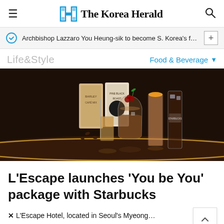The Korea Herald
Archbishop Lazzaro You Heung-sik to become S. Korea's fourth c…
Life&Style
Food & Beverage
[Figure (photo): Starbucks drinks and coffee products arranged on a dark reflective table surface, including iced beverages, coffee boxes, and garnished drinks]
L'Escape launches 'You be You' package with Starbucks
L'Escape Hotel, located in Seoul's Myeong…